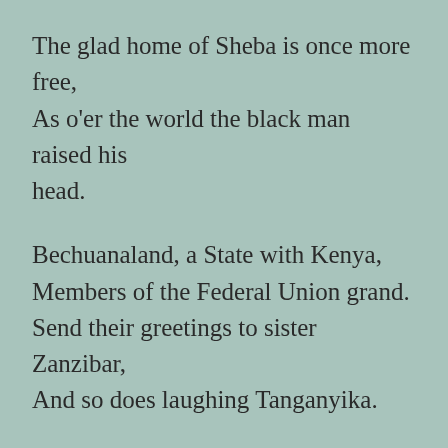The glad home of Sheba is once more free,
As o'er the world the black man raised his head.
Bechuanaland, a State with Kenya,
Members of the Federal Union grand.
Send their greetings to sister Zanzibar,
And so does laughing Tanganyika.
Over in Grand Mother Mozambique,
The pretty Union Flag floats in the air.
She is sister to good Somaliland,
Smiling with the children of Dahomey.
The glad home of old Bechuanaland